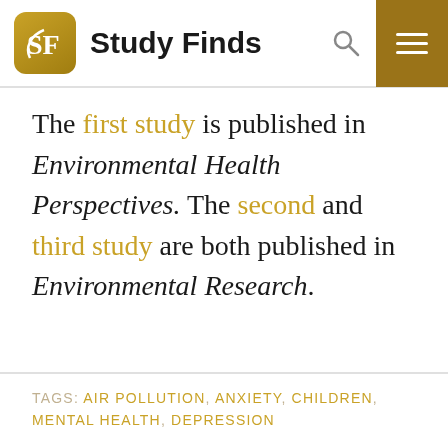Study Finds
The first study is published in Environmental Health Perspectives. The second and third study are both published in Environmental Research.
TAGS: AIR POLLUTION, ANXIETY, CHILDREN, MENTAL HEALTH, DEPRESSION